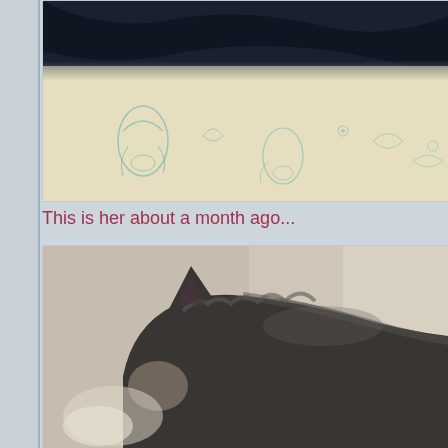[Figure (photo): Close-up photo of a dark-furred cat lying on a white floral patterned quilt/bedding. Only the fur of the cat is visible at the top, with the decorative white fabric visible below.]
This is her about a month ago...
[Figure (photo): Close-up blurry photo of a dark cat's head/face in profile, showing the ear and fur against a light beige background.]